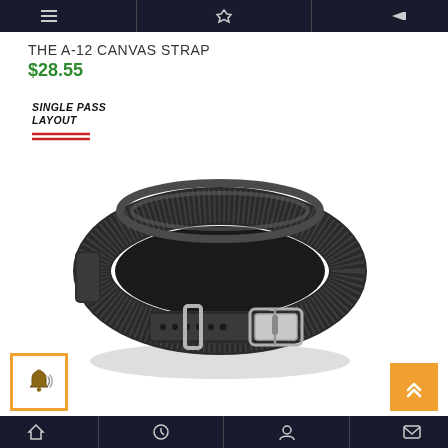Navigation bar with icons
THE A-12 CANVAS STRAP
$28.55
[Figure (photo): A-12 Canvas Strap product photo showing a dark gray/black canvas NATO-style watch strap with silver buckle and keeper rings, coiled to show the single-pass layout. A 'SINGLE PASS LAYOUT' badge with red accent lines is overlaid on the upper left of the image area.]
Bottom navigation bar with icons